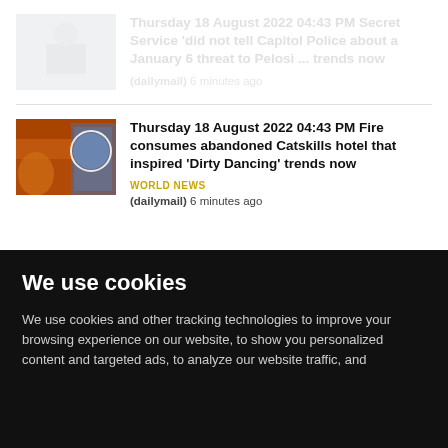Thursday 18 August 2022 04:43 PM Secret Service 'did not tell Capitol Police about a January 6 threat to Pelosi ... trends now
(dailymail) 6 minutes ago
Thursday 18 August 2022 04:43 PM Fire consumes abandoned Catskills hotel that inspired 'Dirty Dancing' trends now
WORLD NEWS
(dailymail) 6 minutes ago
We use cookies
We use cookies and other tracking technologies to improve your browsing experience on our website, to show you personalized content and targeted ads, to analyze our website traffic, and